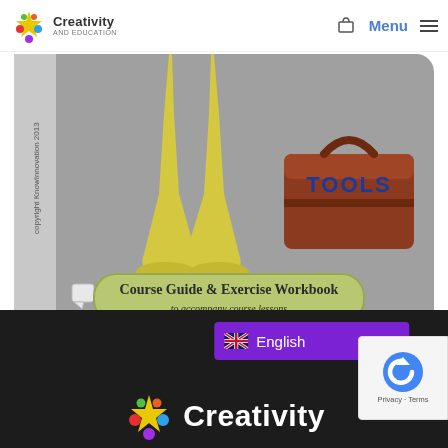Creativity and Education — Menu
[Figure (illustration): Partial view of a course workbook cover showing a cartoon character (yellow bird/duck feet) and a red toolbox labeled TOOLS, with a rounded rectangle label reading 'Course Guide & Exercise Workbook to accompany course lessons']
[Figure (screenshot): Dark footer area with purple English language selector dropdown showing UK flag, and Creativity and Education logo (colorful star + white text 'Creativity') in the footer. A reCAPTCHA badge appears bottom-right with Privacy and Terms links.]